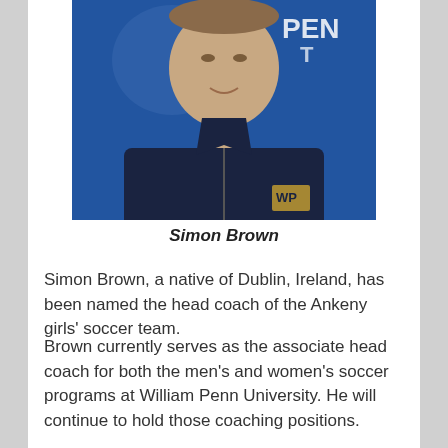[Figure (photo): Headshot of Simon Brown wearing a dark navy zip-up jacket with William Penn University logo, against a blue background with partial 'PENN' text visible]
Simon Brown
Simon Brown, a native of Dublin, Ireland, has been named the head coach of the Ankeny girls' soccer team.
Brown currently serves as the associate head coach for both the men's and women's soccer programs at William Penn University. He will continue to hold those coaching positions.
"The college season is in the fall, and at the NAIA